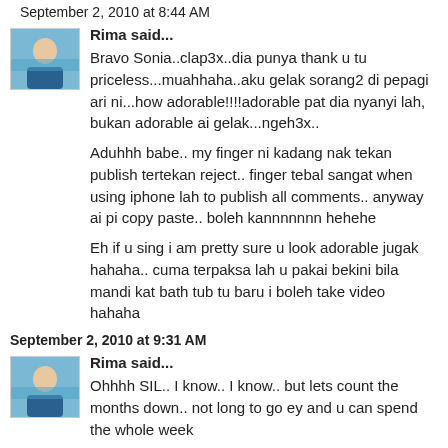September 2, 2010 at 8:44 AM
Rima said...
Bravo Sonia..clap3x..dia punya thank u tu priceless...muahhaha..aku gelak sorang2 di pepagi ari ni...how adorable!!!!adorable pat dia nyanyi lah, bukan adorable ai gelak...ngeh3x..
Aduhhh babe.. my finger ni kadang nak tekan publish tertekan reject.. finger tebal sangat when using iphone lah to publish all comments.. anyway ai pi copy paste.. boleh kannnnnnn hehehe
Eh if u sing i am pretty sure u look adorable jugak hahaha.. cuma terpaksa lah u pakai bekini bila mandi kat bath tub tu baru i boleh take video hahaha
September 2, 2010 at 9:31 AM
Rima said...
Ohhhh SIL.. I know.. I know.. but lets count the months down.. not long to go ey and u can spend the whole week